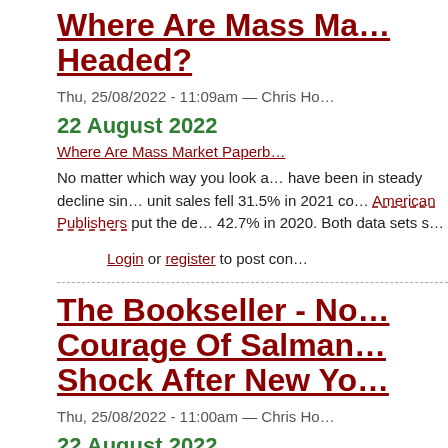Where Are Mass Ma… Headed?
Thu, 25/08/2022 - 11:09am — Chris Ho…
22 August 2022
Where Are Mass Market Paperb…
No matter which way you look a… have been in steady decline sin… unit sales fell 31.5% in 2021 co… American Publishers put the de… 42.7% in 2020. Both data sets s…
Login or register to post com…
The Bookseller - N… Courage Of Salman… Shock After New Yo…
Thu, 25/08/2022 - 11:00am — Chris Ho…
22 August 2022